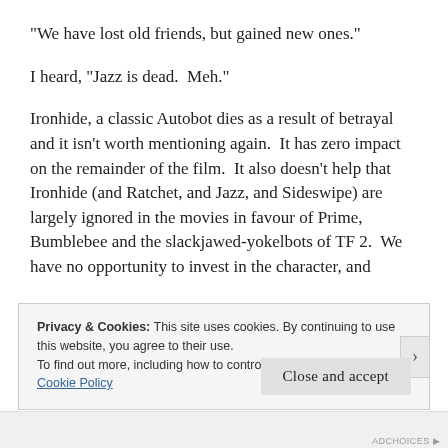“We have lost old friends, but gained new ones.”
I heard, “Jazz is dead.  Meh.”
Ironhide, a classic Autobot dies as a result of betrayal and it isn’t worth mentioning again.  It has zero impact on the remainder of the film.  It also doesn’t help that Ironhide (and Ratchet, and Jazz, and Sideswipe) are largely ignored in the movies in favour of Prime, Bumblebee and the slackjawed-yokelbots of TF 2.  We have no opportunity to invest in the character, and
Privacy & Cookies: This site uses cookies. By continuing to use this website, you agree to their use.
To find out more, including how to control cookies, see here:
Cookie Policy
Close and accept